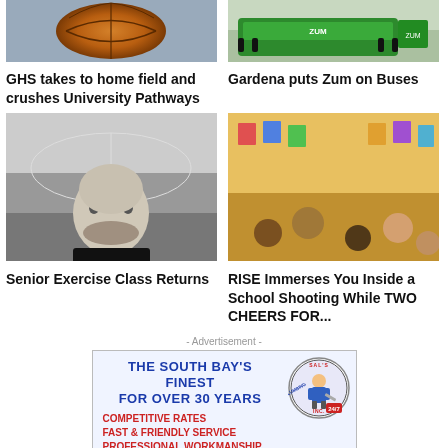[Figure (photo): Close-up of a basketball with textured surface]
[Figure (photo): Green bus on a road, Zum branding]
GHS takes to home field and crushes University Pathways
Gardena puts Zum on Buses
[Figure (photo): Black and white photo of a bald man smiling in a gym with players in background]
[Figure (photo): Students sitting on classroom floor in group discussion]
Senior Exercise Class Returns
RISE Immerses You Inside a School Shooting While TWO CHEERS FOR...
- Advertisement -
[Figure (illustration): Sal's Plumbing Inc. advertisement: THE SOUTH BAY'S FINEST FOR OVER 30 YEARS, COMPETITIVE RATES, FAST & FRIENDLY SERVICE, PROFESSIONAL WORKMANSHIP]